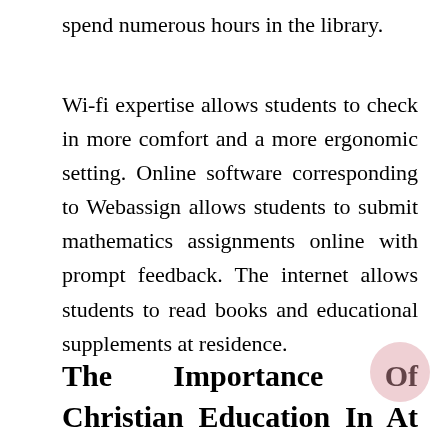spend numerous hours in the library.
Wi-fi expertise allows students to check in more comfort and a more ergonomic setting. Online software corresponding to Webassign allows students to submit mathematics assignments online with prompt feedback. The internet allows students to read books and educational supplements at residence.
The Importance Of Christian Education In At present's